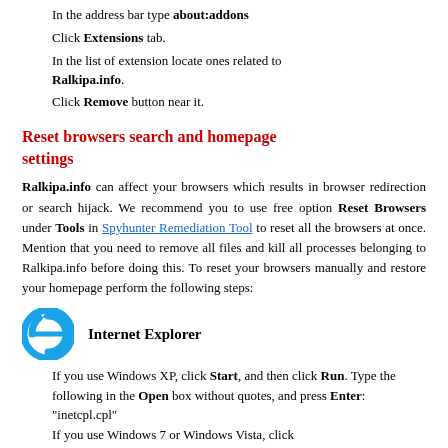In the address bar type about:addons
Click Extensions tab.
In the list of extension locate ones related to Ralkipa.info.
Click Remove button near it.
Reset browsers search and homepage settings
Ralkipa.info can affect your browsers which results in browser redirection or search hijack. We recommend you to use free option Reset Browsers under Tools in Spyhunter Remediation Tool to reset all the browsers at once. Mention that you need to remove all files and kill all processes belonging to Ralkipa.info before doing this. To reset your browsers manually and restore your homepage perform the following steps:
[Figure (logo): Internet Explorer browser icon — blue circular arrow logo]
Internet Explorer
If you use Windows XP, click Start, and then click Run. Type the following in the Open box without quotes, and press Enter: "inetcpl.cpl" If you use Windows 7 or Windows Vista, click